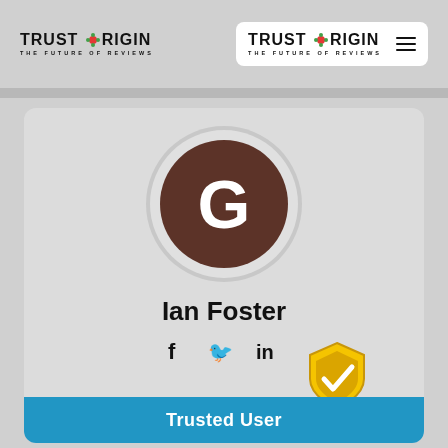[Figure (logo): Trust Origin logo left - THE FUTURE OF REVIEWS]
[Figure (logo): Trust Origin logo right in white box with hamburger menu - THE FUTURE OF REVIEWS]
[Figure (illustration): User profile card with brown circle avatar showing letter G, name Ian Foster, social media icons for Facebook Twitter LinkedIn, and a Trusted User badge banner at the bottom with gold shield checkmark]
Ian Foster
Trusted User